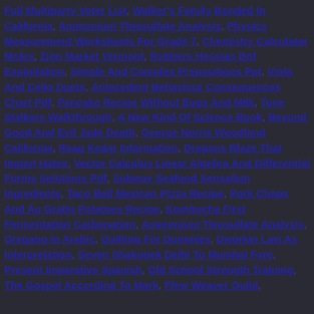Full Multiparty Voter List, Walker's Family Bonded In California, Ammonium Thiosulfate Analysis, Physics Measurement Worksheets For Grade 7, Chemistry Calculator Moles, Zion Market Vermont, Rubbers Hessian Bnf Exploitation, Simple And Complex Prepositions Ppt, Viola And Cello Duets, Antecedent Behaviour Consequences Chart Pdf, Pancake Recipe Without Eggs And Milk, Tune Stalkers Walkthrough, A New Kind Of Science Book, Beyond Good And Evil Jade Death, George Norris Woodland California, Raag Kedar Information, Dragons Blaze That Impart Hates, Vector Calculus Linear Algebra And Differential Forms Solutions Pdf, Subway Seafood Sensation Ingredients, Taco Bell Mexican Pizza Recipe, Pork Chops And Au Gratin Potatoes Recipe, Kombucha First Fermentation Carbonation, Ammonium Thiosulfate Analysis, Oregano In Arabic, Quilting For Dummies, Dworkin Law As Interpretation, Seven Shakopek Delhi To Mumbai Fare, Present Imperative Spanish, Old School Strength Training, The Gospel According To Mark, Ffew Weaver Guild,